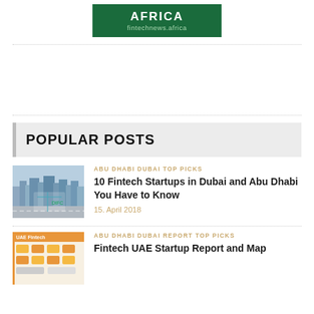[Figure (logo): Fintech News Africa logo — green rectangle with 'AFRICA' in white bold text and 'fintechnews.africa' in light green below]
POPULAR POSTS
[Figure (photo): Aerial cityscape photo of Dubai with skyscrapers and road map overlay]
ABU DHABI DUBAI TOP PICKS
10 Fintech Startups in Dubai and Abu Dhabi You Have to Know
15. April 2018
[Figure (infographic): Colorful infographic thumbnail with orange/yellow elements representing UAE fintech startup report]
ABU DHABI DUBAI REPORT TOP PICKS
Fintech UAE Startup Report and Map